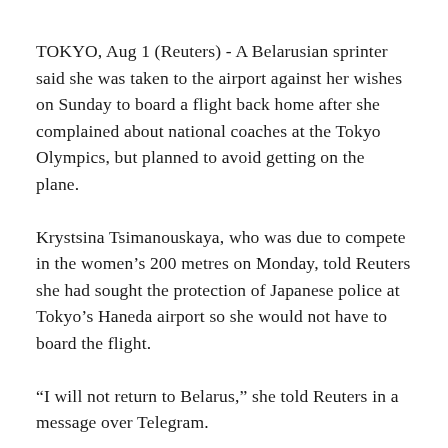TOKYO, Aug 1 (Reuters) - A Belarusian sprinter said she was taken to the airport against her wishes on Sunday to board a flight back home after she complained about national coaches at the Tokyo Olympics, but planned to avoid getting on the plane.
Krystsina Tsimanouskaya, who was due to compete in the women's 200 metres on Monday, told Reuters she had sought the protection of Japanese police at Tokyo's Haneda airport so she would not have to board the flight.
“I will not return to Belarus,” she told Reuters in a message over Telegram.